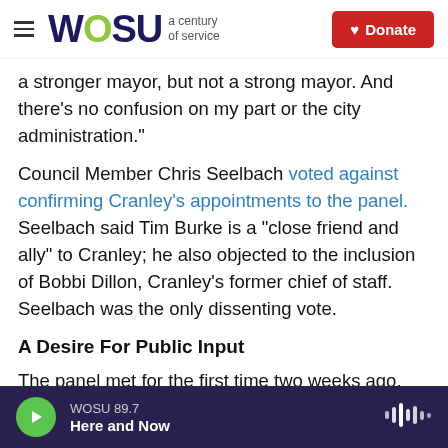WOSU a century of service | Donate
a stronger mayor, but not a strong mayor. And there's no confusion on my part or the city administration."
Council Member Chris Seelbach voted against confirming Cranley's appointments to the panel. Seelbach said Tim Burke is a "close friend and ally" to Cranley; he also objected to the inclusion of Bobbi Dillon, Cranley's former chief of staff. Seelbach was the only dissenting vote.
A Desire For Public Input
The panel met for the first time two weeks ago.
WOSU 89.7 | Here and Now